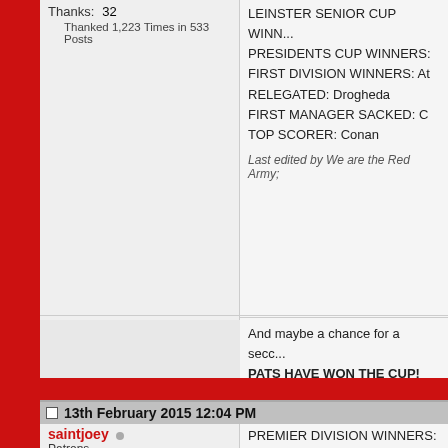Thanks: 32
Thanked 1,223 Times in 533 Posts
LEINSTER SENIOR CUP WINNERS:
PRESIDENTS CUP WINNERS:
FIRST DIVISION WINNERS: At
RELEGATED: Drogheda
FIRST MANAGER SACKED: C
TOP SCORER: Conan
Last edited by We are the Red Army;
And maybe a chance for a secc
PATS HAVE WON THE CUP!
13th February 2015 12:04 PM
saintjoey
Patrons
Join Date: Jul 2010
Posts: 3,439
Thanks: 987
Thanked 873 Times in 525 Posts
PREMIER DIVISION WINNERS:
EUROPA LEAGUE SPOTS: Co
FAI CUP WINNERS: Pats
EA SPORTS CUP WINNERS: C
SETANTA CUP WINNERS: Linf
LEINSTER SENIOR CUP WINN
FIRST DIVISION WINNERS: At
RELEGATED: Limerick
FIRST MANAGER SACKED: H